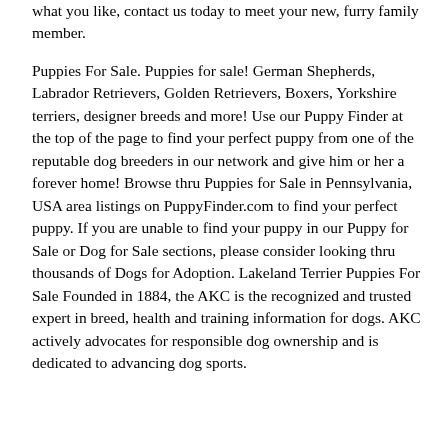what you like, contact us today to meet your new, furry family member.
Puppies For Sale. Puppies for sale! German Shepherds, Labrador Retrievers, Golden Retrievers, Boxers, Yorkshire terriers, designer breeds and more! Use our Puppy Finder at the top of the page to find your perfect puppy from one of the reputable dog breeders in our network and give him or her a forever home! Browse thru Puppies for Sale in Pennsylvania, USA area listings on PuppyFinder.com to find your perfect puppy. If you are unable to find your puppy in our Puppy for Sale or Dog for Sale sections, please consider looking thru thousands of Dogs for Adoption. Lakeland Terrier Puppies For Sale Founded in 1884, the AKC is the recognized and trusted expert in breed, health and training information for dogs. AKC actively advocates for responsible dog ownership and is dedicated to advancing dog sports.
Lancaster Puppies makes it easy to find healthy puppies from reputable dog breeders across Pennsylvania, Ohio, and more. Find your puppy today!. Kiki – Blue Heeler Mix Puppy for Sale in Mifflintown, PA. Female. $1,000. Jade – Cockapoo Puppy for Sale in Mifflintown, PA. Female. $2,250. Ace – Pomeranian Mix Puppy for Sale in Mifflintown, PA. Male. Ridgewood's Puppies for Sale in PA come with our exclusive lifetime guarantee! We have been helping people just like you find their perfect puppy for over 40 years! Besides Pennsylvania, Ridgewood puppies for